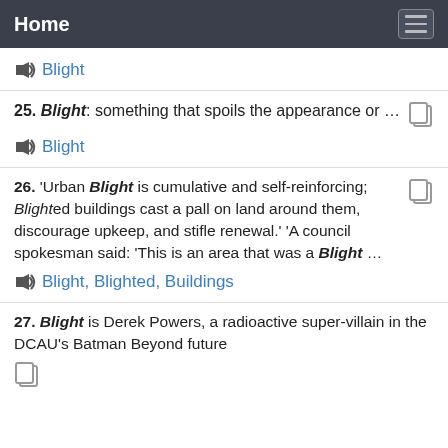Home
🔊 Blight
25. Blight: something that spoils the appearance or ...   🔊 Blight
26. 'Urban Blight is cumulative and self-reinforcing; Blighted buildings cast a pall on land around them, discourage upkeep, and stifle renewal.' 'A council spokesman said: 'This is an area that was a Blight ...   🔊 Blight, Blighted, Buildings
27. Blight is Derek Powers, a radioactive super-villain in the DCAU's Batman Beyond future